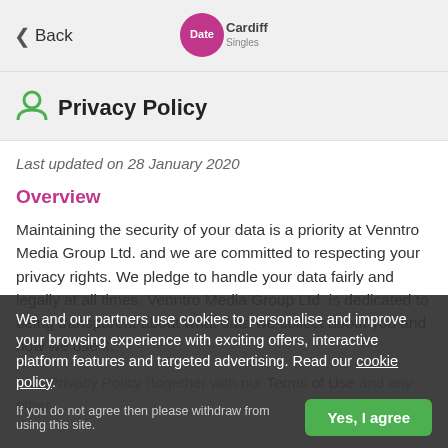< Back | Date Cardiff Singles
Privacy Policy
Last updated on 28 January 2020
Overview
Maintaining the security of your data is a priority at Venntro Media Group Ltd. and we are committed to respecting your privacy rights. We pledge to handle your data fairly and legally at all times. Venntro Media Group Ltd. is dedicated to being transparent about what data we collect about you and how we use it.
This Privacy Policy (together with our Terms of Use and any other...
We and our partners use cookies to personalise and improve your browsing experience with exciting offers, interactive platform features and targeted advertising. Read our cookie policy.
If you do not agree then please withdraw from using this site.